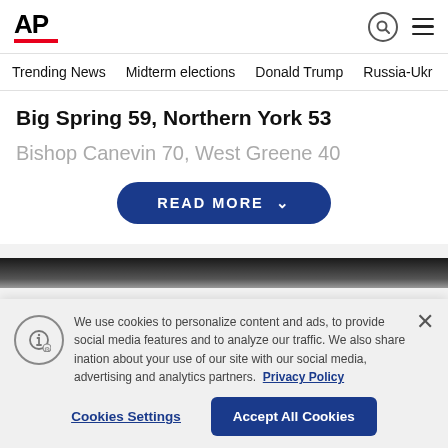AP
Trending News  Midterm elections  Donald Trump  Russia-Ukr
Big Spring 59, Northern York 53
Bishop Canevin 70, West Greene 40
READ MORE
[Figure (photo): Dark image strip at top of article]
We use cookies to personalize content and ads, to provide social media features and to analyze our traffic. We also share information about your use of our site with our social media, advertising and analytics partners. Privacy Policy
Cookies Settings  Accept All Cookies